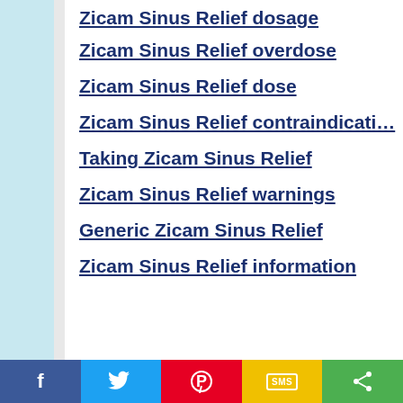Zicam Sinus Relief dosage
Zicam Sinus Relief overdose
Zicam Sinus Relief dose
Zicam Sinus Relief contraindications
Taking Zicam Sinus Relief
Zicam Sinus Relief warnings
Generic Zicam Sinus Relief
Zicam Sinus Relief information
[Figure (infographic): Social share bar with Facebook, Twitter, Pinterest, SMS, and share buttons]